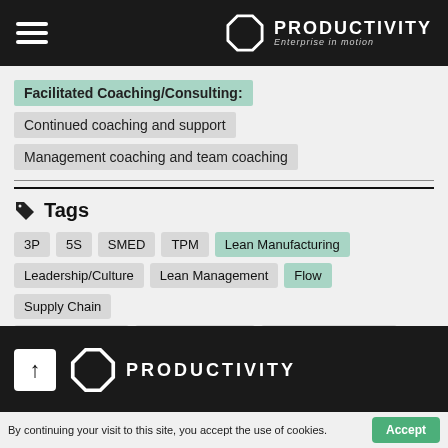PRODUCTIVITY Enterprise in motion
Facilitated Coaching/Consulting:
Continued coaching and support
Management coaching and team coaching
Tags
3P
5S
SMED
TPM
Lean Manufacturing
Leadership/Culture
Lean Management
Flow
Supply Chain
Problem Solving
Visual Workplace
Lean Service/Admin
PRODUCTIVITY — By continuing your visit to this site, you accept the use of cookies. Accept